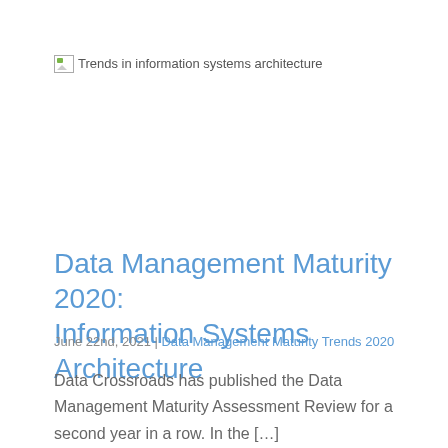[Figure (illustration): Broken image placeholder with alt text 'Trends in information systems architecture']
Data Management Maturity 2020: Information Systems Architecture
June 22nd, 2021 | Data Management Maturity Trends 2020
Data Crossroads has published the Data Management Maturity Assessment Review for a second year in a row. In the […]